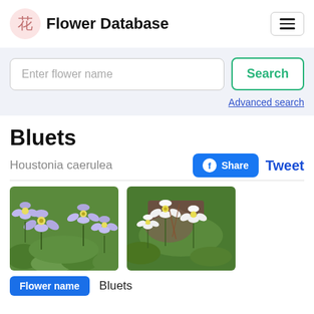花 Flower Database
Enter flower name
Search
Advanced search
Bluets
Houstonia caerulea
Share
Tweet
[Figure (photo): Close-up photo of Bluets flowers with light purple petals and yellow centers in green grass]
[Figure (photo): Photo of small white Bluets flowers growing among green grass and reddish stems]
Flower name   Bluets